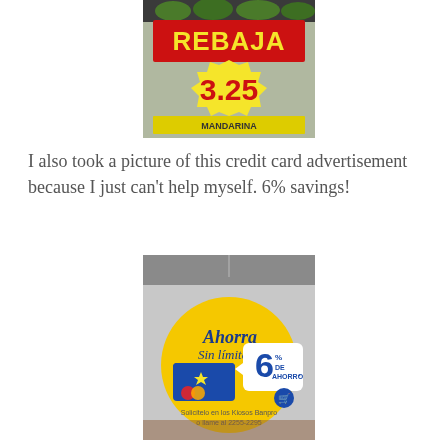[Figure (photo): Photo of a sale price sign at a grocery store showing 'REBAJA' in yellow text on red background, with '3.25' in red text on yellow starburst shape, and 'MANDARINA' text below. Green fruits visible above.]
I also took a picture of this credit card advertisement because I just can't help myself. 6% savings!
[Figure (photo): Photo of a circular yellow hanging advertisement sign for a credit card. Text reads 'Ahorra Sin límites' with '6% DE AHORRO' in blue/white speech bubble graphic and a blue credit card image. Bottom text reads 'Solicítelo en los Kiosos Banpro o llame al 2255-2295'.]